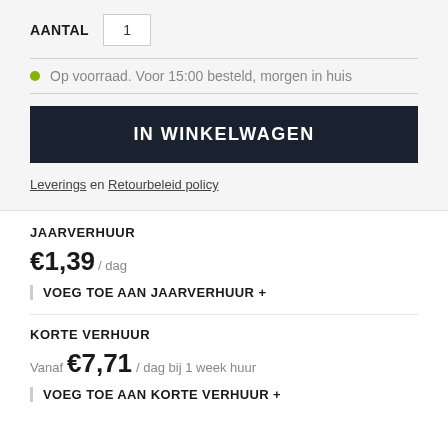AANTAL  1
Op voorraad. Voor 15:00 besteld, morgen in huis
IN WINKELWAGEN
Leverings en Retourbeleid policy
JAARVERHUUR
€1,39 / dag
VOEG TOE AAN JAARVERHUUR +
KORTE VERHUUR
Vanaf €7,71 / dag bij 1 week huur
VOEG TOE AAN KORTE VERHUUR +